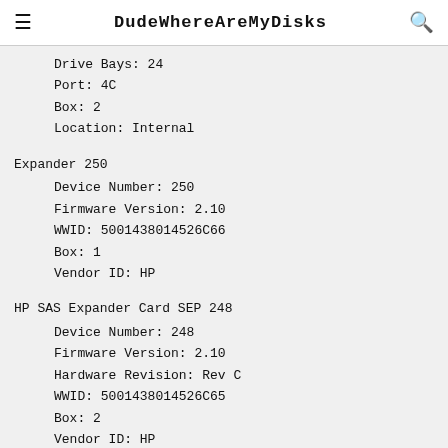DudeWhereAreMyDisks
Drive Bays: 24
Port: 4C
Box: 2
Location: Internal
Expander 250
Device Number: 250
Firmware Version: 2.10
WWID: 5001438014526C66
Box: 1
Vendor ID: HP
HP SAS Expander Card SEP 248
Device Number: 248
Firmware Version: 2.10
Hardware Revision: Rev C
WWID: 5001438014526C65
Box: 2
Vendor ID: HP
Model: HP SAS EXP Card